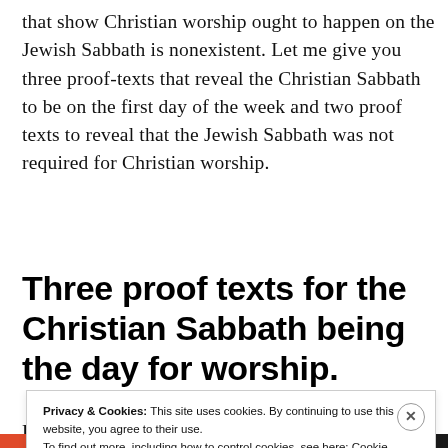that show Christian worship ought to happen on the Jewish Sabbath is nonexistent. Let me give you three proof-texts that reveal the Christian Sabbath to be on the first day of the week and two proof texts to reveal that the Jewish Sabbath was not required for Christian worship.
Three proof texts for the Christian Sabbath being the day for worship.
First text 20 5 12 ...
Privacy & Cookies: This site uses cookies. By continuing to use this website, you agree to their use.
To find out more, including how to control cookies, see here: Cookie Policy